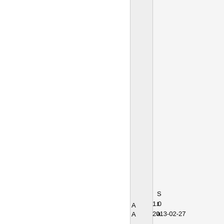| A | S | 1.0 |
| A | t | 2013-02-27 |
|  | a |  |